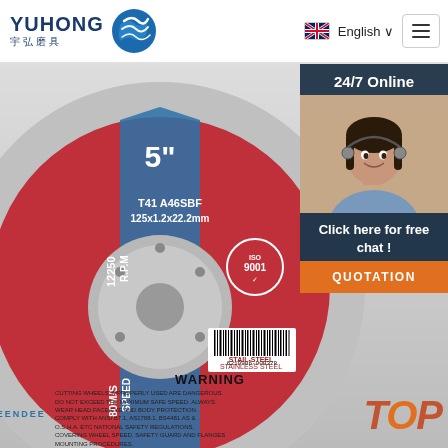[Figure (logo): YUHONG 宇弘磨具 logo with blue wave/globe icon]
English ∨
[Figure (photo): 5-inch cutting disc (grinding wheel) labeled: T41 A46SBF, 125x1.2x22.2mm, R.P.M 12250, SPEED 80M/S, KEENDEE brand, STAIL-STEEL / STAINLESS STEEL, ISO 9001 certified, barcode 6210906-000378. Side panel shows customer service rep with '24/7 Online' and 'Click here for free chat!' and 'QUOTATION' button.]
24/7 Online
Click here for free chat !
QUOTATION
WARNING
CUTTING WHEELS IMPROPERLY USED ARE DANGEROUS. DO NOT EXCEED THE MAXIMUM SAFE SPEED. ALWAYS WEAR HEAD,FACE,EYE AND BODY PROTECTION. COMPLY WITH ANSI B7.1, AS1788.1, BS4481.AS & O.S.H.A. ETC NATIONAL SAFETY REGULATIONS, COVERING WHEEL SPEED, SAFETY GUARD AND FLANGES MOUNTING PROCEDURES.